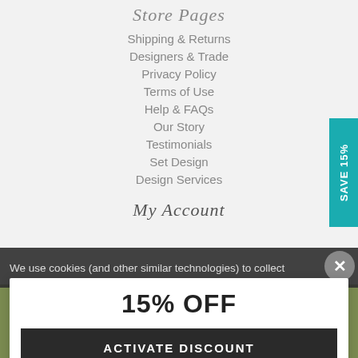Store Pages
Shipping & Returns
Designers & Trade
Privacy Policy
Terms of Use
Help & FAQs
Our Story
Testimonials
Set Design
Design Services
My Account
We use cookies (and other similar technologies) to collect
15% OFF
ACTIVATE DISCOUNT